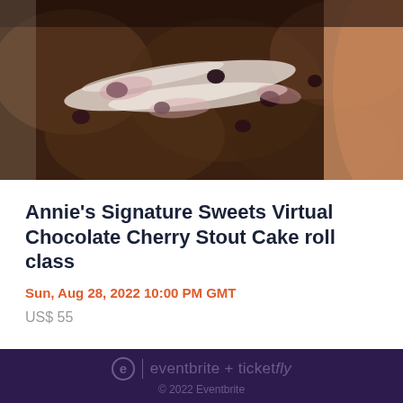[Figure (photo): Close-up photo of a chocolate cherry stout cake roll slice being held, showing dark chocolate cake with cream and cherry filling inside]
Annie's Signature Sweets Virtual Chocolate Cherry Stout Cake roll class
Sun, Aug 28, 2022 10:00 PM GMT
US$ 55
e | eventbrite + ticketfly © 2022 Eventbrite